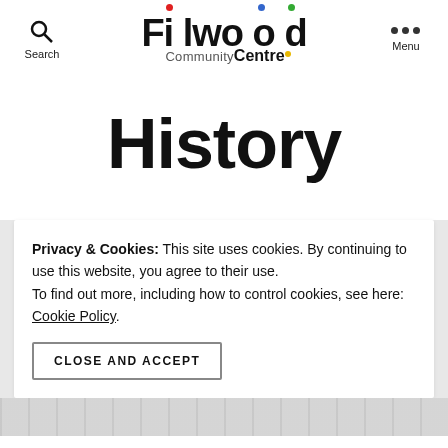Search | Filwood Community Centre | Menu
History
Privacy & Cookies: This site uses cookies. By continuing to use this website, you agree to their use.
To find out more, including how to control cookies, see here: Cookie Policy
CLOSE AND ACCEPT